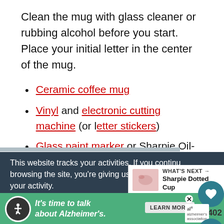Clean the mug with glass cleaner or rubbing alcohol before you start.  Place your initial letter in the center of the mug.
Ceramic coffee mug
Vinyl and electronic cutting machine (or letter stickers)
Glass paint marker or Sharpie Oil-Based Paint Markers
This website tracks your activities. If you continue browsing the site, you're giving us cons... your activity.
WHAT'S NEXT → Sharpie Dotted Cup
It's time to talk about Alzheimer's.